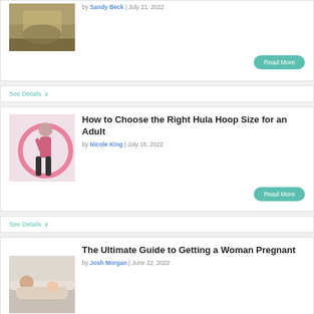[Figure (photo): Tree stump photo (partial view at top)]
by Sandy Beck | July 21, 2022
Read More
See Details ∨
How to Choose the Right Hula Hoop Size for an Adult
[Figure (photo): Woman with hula hoop]
by Nicole King | July 18, 2022
Read More
See Details ∨
The Ultimate Guide to Getting a Woman Pregnant
[Figure (photo): Pregnant woman lying down]
by Josh Morgan | June 22, 2022
Read More